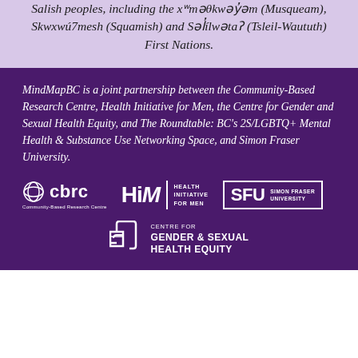Salish peoples, including the xʷməθkwəy̓əm (Musqueam), Skwxwú7mesh (Squamish) and Səl̓ílwətaʔ (Tsleil-Waututh) First Nations.
MindMapBC is a joint partnership between the Community-Based Research Centre, Health Initiative for Men, the Centre for Gender and Sexual Health Equity, and The Roundtable: BC's 2S/LGBTQ+ Mental Health & Substance Use Networking Space, and Simon Fraser University.
[Figure (logo): CBRC (Community-Based Research Centre) logo in white on dark purple background]
[Figure (logo): HiM (Health Initiative for Men) logo in white on dark purple background]
[Figure (logo): SFU (Simon Fraser University) logo in white with border on dark purple background]
[Figure (logo): Centre for Gender & Sexual Health Equity logo in white on dark purple background]